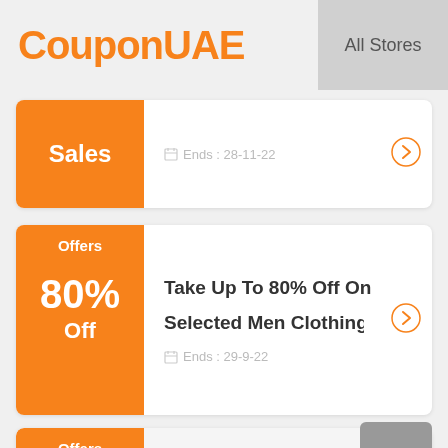CouponUAE
All Stores
[Figure (screenshot): Sales coupon card with orange badge showing 'Sales' label and expiry date Ends: 28-11-22]
[Figure (screenshot): Offers coupon card with orange badge showing 80% Off, title 'Take Up To 80% Off On Selected Men Clothing At', expiry Ends: 29-9-22]
[Figure (screenshot): Offers coupon card with orange badge showing 70% Off, title 'Take Up To 70% Off Womens Nightwear At', expiry Ends: 3-9-22]